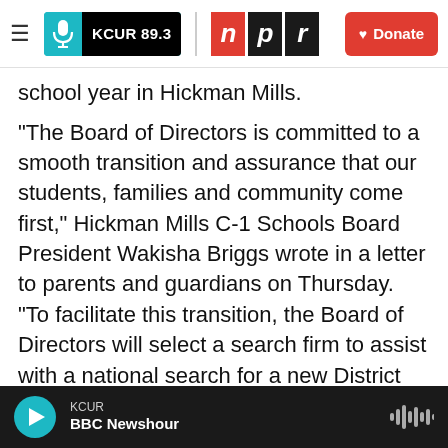[Figure (screenshot): KCUR 89.3 and NPR logos with Donate button navigation bar]
school year in Hickman Mills.
"The Board of Directors is committed to a smooth transition and assurance that our students, families and community come first," Hickman Mills C-1 Schools Board President Wakisha Briggs wrote in a letter to parents and guardians on Thursday. "To facilitate this transition, the Board of Directors will select a search firm to assist with a national search for a new District leader."
"I will remain one of Hickman Mills greatest cheerleaders," Cargile wrote in her resignation
KCUR BBC Newshour